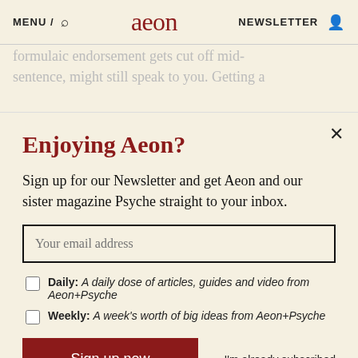MENU / [search] aeon NEWSLETTER [user]
formulaic endorsement gets cut off mid-sentence, might still speak to you. Getting a
Enjoying Aeon?
Sign up for our Newsletter and get Aeon and our sister magazine Psyche straight to your inbox.
Your email address
Daily: A daily dose of articles, guides and video from Aeon+Psyche
Weekly: A week's worth of big ideas from Aeon+Psyche
Sign up now
I'm already subscribed
Privacy policy